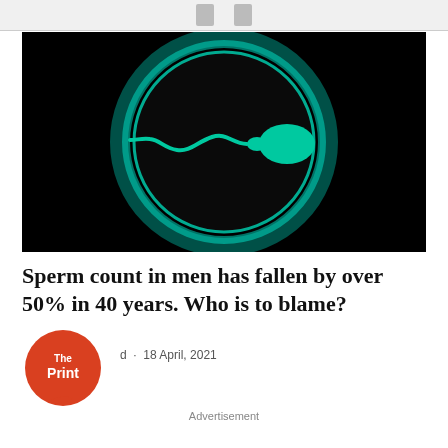[Figure (illustration): Dark/black background with a glowing teal/green circle. Inside the circle is a green sperm cell illustration facing left, with a tail curling to the left and a rounded head on the right side. The circle has a soft teal glow/halo effect around its edge.]
Sperm count in men has fallen by over 50% in 40 years. Who is to blame?
18 April, 2021
[Figure (logo): The Print logo — circular red/orange badge with 'The Print' text in white]
Advertisement